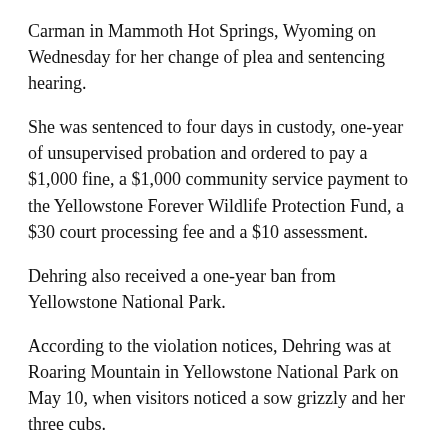Carman in Mammoth Hot Springs, Wyoming on Wednesday for her change of plea and sentencing hearing.
She was sentenced to four days in custody, one-year of unsupervised probation and ordered to pay a $1,000 fine, a $1,000 community service payment to the Yellowstone Forever Wildlife Protection Fund, a $30 court processing fee and a $10 assessment.
Dehring also received a one-year ban from Yellowstone National Park.
According to the violation notices, Dehring was at Roaring Mountain in Yellowstone National Park on May 10, when visitors noticed a sow grizzly and her three cubs.
While other visitors slowly backed off and got into their vehicles, Dehring remained. She continued to take pictures as the sow bluff charged her.
“Wildlife in Yellowstone National Park are, indeed, wild. The